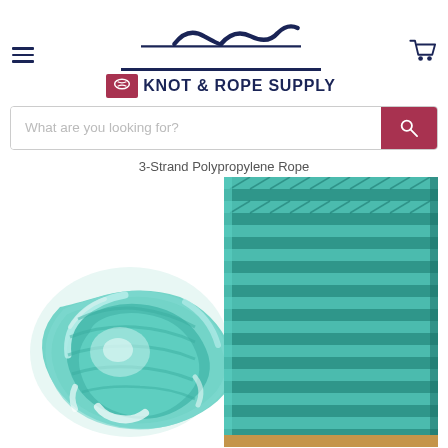Knot & Rope Supply — navigation header with hamburger menu, logo, and cart icon
What are you looking for?
3-Strand Polypropylene Rope
[Figure (photo): Product photo showing teal/mint green 3-strand polypropylene rope — left side shows a coiled loop of rope, right side shows rope wound on a spool/bobbin]